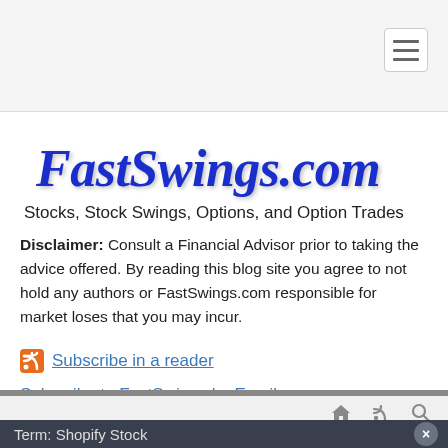FastSwings.com
FastSwings.com
Stocks, Stock Swings, Options, and Option Trades
Disclaimer: Consult a Financial Advisor prior to taking the advice offered. By reading this blog site you agree to not hold any authors or FastSwings.com responsible for market loses that you may incur.
Subscribe in a reader
Subscribe to FastSwings by Email
Term: Shopify Stock